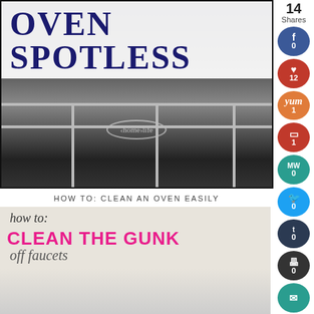[Figure (photo): Photo of an oven with text overlay reading 'OVEN SPOTLESS' and a 'home life' watermark on the oven door]
HOW TO: CLEAN AN OVEN EASILY
[Figure (photo): Banner image reading 'how to: CLEAN THE GUNK off faucets']
[Figure (photo): Partial bottom image, continuation of faucet cleaning article]
14 Shares
0
12
1
1
0
0
0
0
0